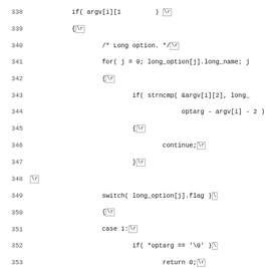[Figure (screenshot): Source code listing showing lines 338-370 of a C program implementing command-line option parsing with long and short options, including switch statements and string comparisons.]